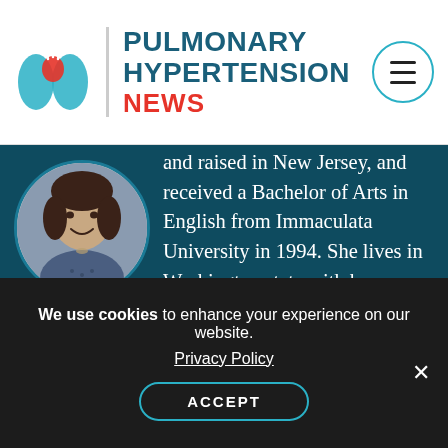[Figure (logo): Pulmonary Hypertension News logo with lungs icon and site name]
[Figure (photo): Circular profile photo of a woman with dark hair, wearing a blue patterned top]
and raised in New Jersey, and received a Bachelor of Arts in English from Immaculata University in 1994. She lives in Washington state with her husband and two sons. Her oldest child was diagnosed with idiopathic pulmonary arterial hypertension when he was 8. At 14, he received a heart and double-lung transplant. Colleen's
We use cookies to enhance your experience on our website.
Privacy Policy
ACCEPT